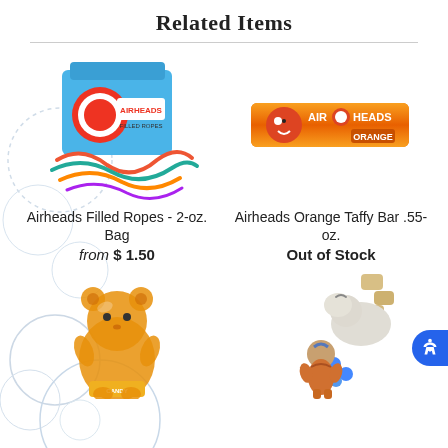Related Items
[Figure (photo): Airheads Filled Ropes 2-oz. Bag — box of airheads candy with colored ropes spilling out]
[Figure (photo): Airheads Orange Taffy Bar .55-oz. — orange wrapped airheads candy bar]
Airheads Filled Ropes - 2-oz. Bag
from $ 1.50
Airheads Orange Taffy Bar .55-oz.
Out of Stock
[Figure (photo): Large orange gummy bear candy with packaging]
[Figure (photo): Avatar Aang themed candy character figure with blue candy pieces]